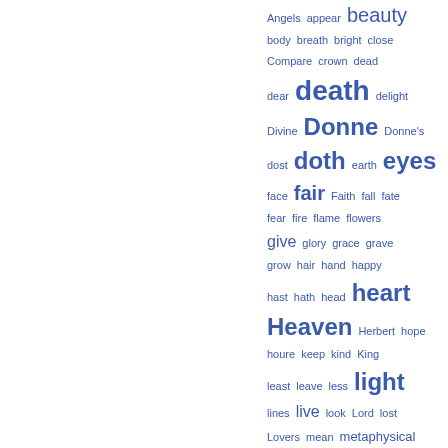[Figure (other): A word/tag cloud of literary and poetic terms in blue, varying font sizes indicating frequency. Words include: Angels, appear, beauty, body, breath, bright, close, Compare, crown, dead, dear, death, delight, Divine, Donne, Donne's, dost, doth, earth, eyes, face, fair, Faith, fall, fate, fear, fire, flame, flowers, give, glory, grace, grave, grow, hair, hand, happy, hast, hath, head, heart, Heaven, Herbert, hope, houre, keep, kind, King, least, leave, less, light, lines, live, look, Lord, lost, Lovers, mean, metaphysical, mind, morning, move, Nature, never, night, once]